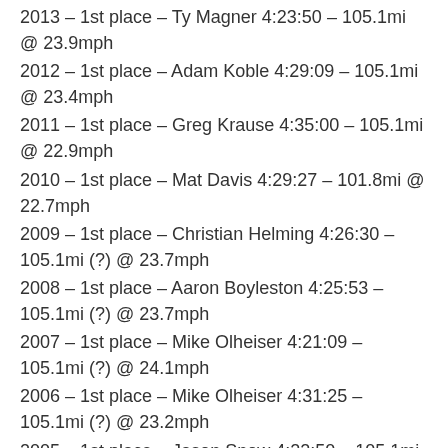2013 – 1st place – Ty Magner 4:23:50 – 105.1mi @ 23.9mph
2012 – 1st place – Adam Koble 4:29:09 – 105.1mi @ 23.4mph
2011 – 1st place – Greg Krause 4:35:00 – 105.1mi @ 22.9mph
2010 – 1st place – Mat Davis 4:29:27 – 101.8mi @ 22.7mph
2009 – 1st place – Christian Helming 4:26:30 – 105.1mi (?) @ 23.7mph
2008 – 1st place – Aaron Boyleston 4:25:53 – 105.1mi (?) @ 23.7mph
2007 – 1st place – Mike Olheiser 4:21:09 – 105.1mi (?) @ 24.1mph
2006 – 1st place – Mike Olheiser 4:31:25 – 105.1mi (?) @ 23.2mph
2005 – 1st place – Jason Snow 4:22:50 – 105.1mi (?) @ 24.0mph
2004 – 1st place – Brice Jones 4:23:56 – 105.1mi (?) @ 23.9mph
2003 – Results link broken
2002 – 1st place – Stephen Viquerie 5:02:00 – 105.1mi (?) @ 20.9mph